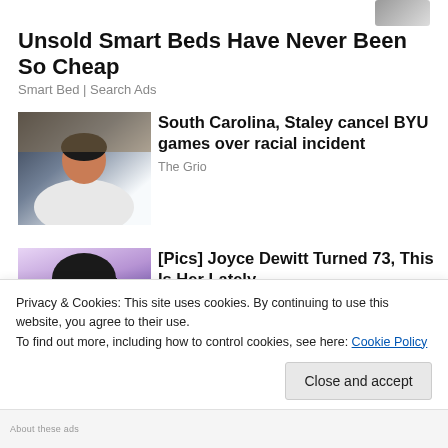[Figure (photo): Partial image of an object at top right, clipped]
Unsold Smart Beds Have Never Been So Cheap
Smart Bed | Search Ads
[Figure (photo): Photo of a woman in a white jacket, appears to be a sports coach, South Carolina related]
South Carolina, Staley cancel BYU games over racial incident
The Grio
[Figure (photo): Photo of a woman with dark hair and dramatic eye makeup, resembling Joyce Dewitt]
[Pics] Joyce Dewitt Turned 73, This Is Her Lately
Privacy & Cookies: This site uses cookies. By continuing to use this website, you agree to their use.
To find out more, including how to control cookies, see here: Cookie Policy
Close and accept